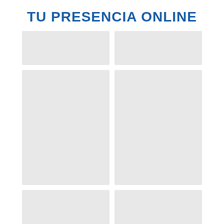TU PRESENCIA ONLINE
[Figure (other): Six placeholder image boxes arranged in a 2-column, 3-row grid layout below the title. All boxes are light gray rectangles of varying heights.]